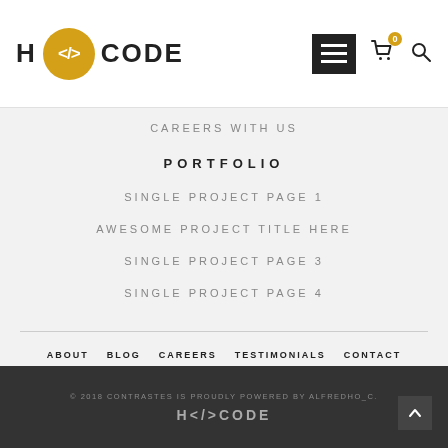H CODE
CAREERS WITH US
PORTFOLIO
SINGLE PROJECT PAGE 1
AWESOME PROJECT TITLE HERE
SINGLE PROJECT PAGE 3
SINGLE PROJECT PAGE 4
ABOUT  BLOG  CAREERS  TESTIMONIALS  CONTACT
© 2018 CONTRASTES IS PROUDLY POWERED BY ALFREDHO_C.
H</>CODE